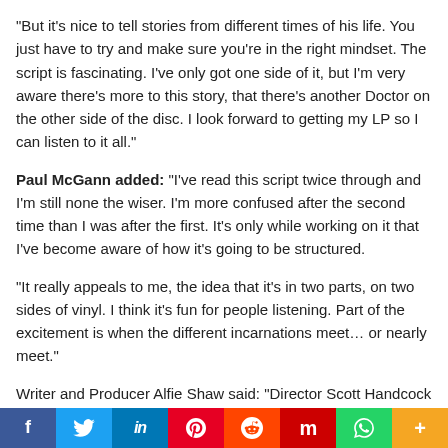“But it's nice to tell stories from different times of his life. You just have to try and make sure you're in the right mindset. The script is fascinating. I've only got one side of it, but I'm very aware there's more to this story, that there's another Doctor on the other side of the disc. I look forward to getting my LP so I can listen to it all.”
Paul McGann added: “I've read this script twice through and I'm still none the wiser. I'm more confused after the second time than I was after the first. It's only while working on it that I've become aware of how it's going to be structured.
“It really appeals to me, the idea that it's in two parts, on two sides of vinyl. I think it's fun for people listening. Part of the excitement is when the different incarnations meet… or nearly meet.”
Writer and Producer Alfie Shaw said: “Director Scott Handcock has pulled together an amazing who’s who of Doctor Who for the
f  Twitter  in  Pinterest  Reddit  Mix  WhatsApp  More